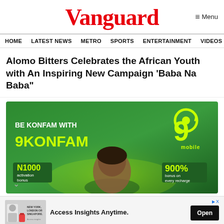Vanguard
≡ Menu
HOME  LATEST NEWS  METRO  SPORTS  ENTERTAINMENT  VIDEOS
Alomo Bitters Celebrates the African Youth with An Inspiring New Campaign 'Baba Na Baba"
[Figure (photo): 9mobile advertisement banner with green background showing 'BE KONFAM WITH 9KONFAM', N1000 activation bonus, 900% bonus on every recharge, and a person's face]
[Figure (photo): Advertisement banner: 'Access Insights Anytime.' with Open button, showing a person with luggage, text 'NEW YORK, LONDON OR SINGAPORE.']
Sense Forth